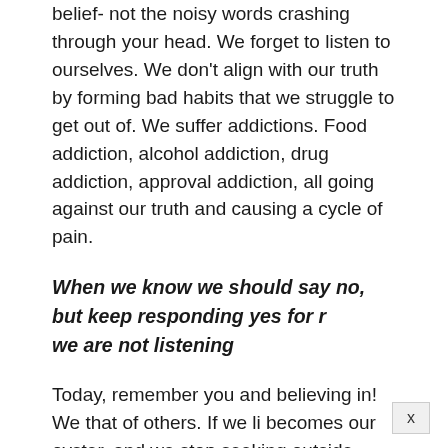belief- not the noisy words crashing through your head. We forget to listen to ourselves.  We don't align with our truth by forming bad habits that we struggle to get out of.  We suffer addictions.  Food addiction, alcohol addiction, drug addiction, approval addiction, all going against our truth and causing a cycle of pain.
When we know we should say no, but keep responding yes for r we are not listening
Today, remember you and believing in!  We that of others.  If we li becomes our oyster, and we stop seeking outside approval that only leads to suffering, and extinguishing